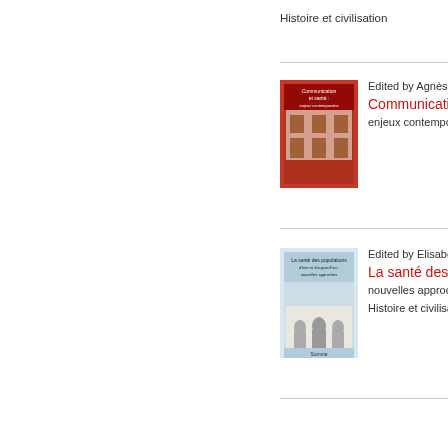Histoire et civilisation
Edited by Agnès d'An
Communication e
enjeux contemporain
Edited by Elisabeth B
La santé des pop
nouvelles approches
Histoire et civilisation